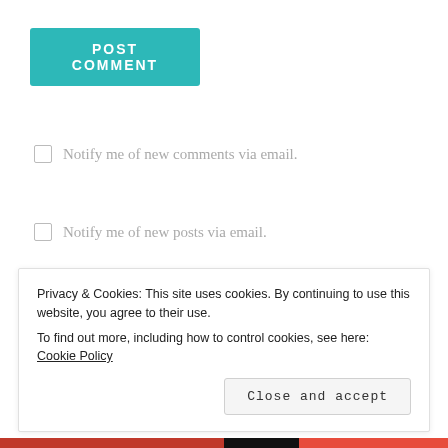[Figure (other): POST COMMENT button in teal/cyan color]
Notify me of new comments via email.
Notify me of new posts via email.
This site uses Akismet to reduce spam. Learn how your comment data is processed.
[Figure (other): Handwritten signature/logo partially visible]
Privacy & Cookies: This site uses cookies. By continuing to use this website, you agree to their use. To find out more, including how to control cookies, see here: Cookie Policy
Close and accept